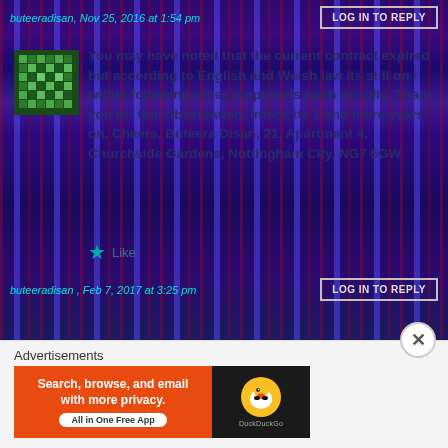buteeradisan, Nov 25, 2016 at 1:54 pm | LOG IN TO REPLY
[Figure (logo): Green pixel/quilt pattern avatar icon]
You may have noted that the current contract expired but according to English and Welsh law its still on / within following other proptocols such as rolls. Thank you for that observation. Infact, its 2 and more years on. Cheers, Buteera Disan, 21, Apartment 4, Churchside Gardens, Nottingham City, NG7 5GW
Like
buteeradisan, Feb 7, 2017 at 3:25 pm | LOG IN TO REPLY
Advertisements
[Figure (screenshot): DuckDuckGo advertisement banner: Search, browse, and email with more privacy. All in One Free App. DuckDuckGo logo on dark right side.]